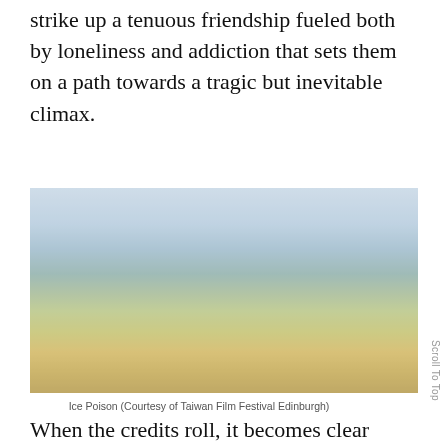strike up a tenuous friendship fueled both by loneliness and addiction that sets them on a path towards a tragic but inevitable climax.
[Figure (photo): Outdoor landscape photograph, hazy sky above arid terrain, appears to be a still from the film 'Ice Poison']
Ice Poison (Courtesy of Taiwan Film Festival Edinburgh)
When the credits roll, it becomes clear that Z's film is first and foremost meant to be seen by people who live locally, not only those of festival-goers.